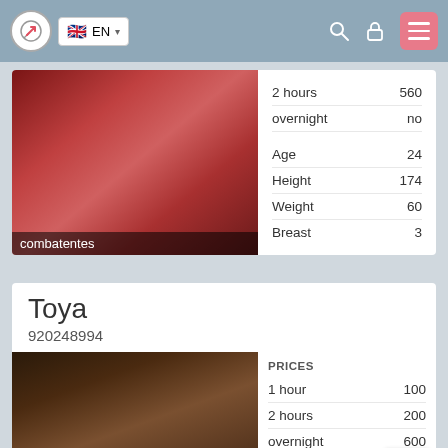EN
[Figure (photo): Person photographed from behind in reddish ambient light, text overlay reads 'combatentes']
|  |  |
| --- | --- |
| 2 hours | 560 |
| overnight | no |
| Age | 24 |
| Height | 174 |
| Weight | 60 |
| Breast | 3 |
Toya
920248994
[Figure (photo): Person in white top photographed indoors]
| PRICES |  |
| --- | --- |
| 1 hour | 100 |
| 2 hours | 200 |
| overnight | 600 |
| Age | 24 |